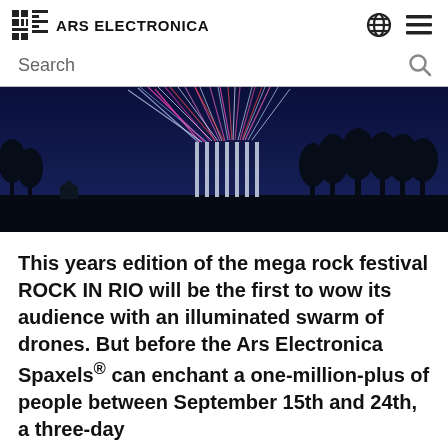ARS ELECTRONICA
[Figure (photo): Night-time photograph of illuminated drone light trails (pink, red, blue, white) rising above a dark treeline landscape against a deep blue sky]
This years edition of the mega rock festival ROCK IN RIO will be the first to wow its audience with an illuminated swarm of drones. But before the Ars Electronica Spaxels® can enchant a one-million-plus of people between September 15th and 24th, a three-day